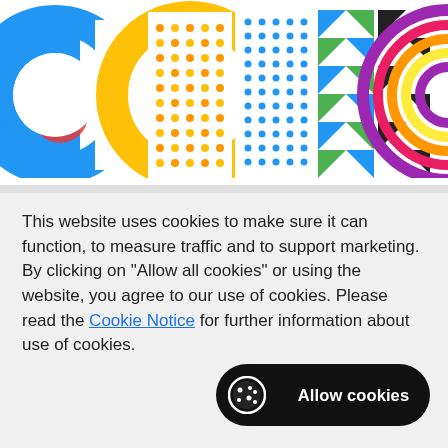[Figure (logo): Colorful 'CODING' text logo with decorative geometric patterns and shapes in multiple colors including blue, orange, yellow, green, purple, and black on white background, cropped to show partial letters]
This website uses cookies to make sure it can function, to measure traffic and to support marketing. By clicking on "Allow all cookies" or using the website, you agree to our use of cookies. Please read the Cookie Notice for further information about use of cookies.
[Figure (other): Black pill-shaped 'Allow cookies' button with a cookie icon on the left]